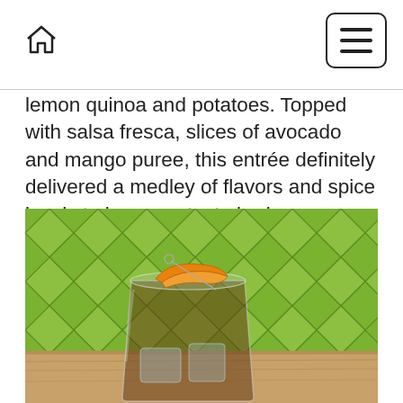lemon quinoa and potatoes. Topped with salsa fresca, slices of avocado and mango puree, this entrée definitely delivered a medley of flavors and spice levels to keep my taste buds entertained!
[Figure (photo): A cocktail glass with dark amber liquid and ice, garnished with an orange peel twist and a cocktail pick, set against a green diamond-quilted upholstered background on a wooden surface.]